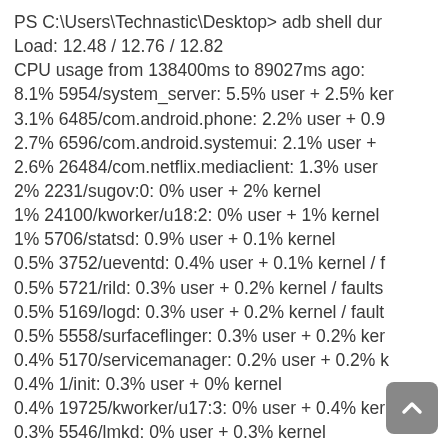PS C:\Users\Technastic\Desktop> adb shell dur
Load: 12.48 / 12.76 / 12.82
CPU usage from 138400ms to 89027ms ago:
8.1% 5954/system_server: 5.5% user + 2.5% ker
3.1% 6485/com.android.phone: 2.2% user + 0.9
2.7% 6596/com.android.systemui: 2.1% user +
2.6% 26484/com.netflix.mediaclient: 1.3% user
2% 2231/sugov:0: 0% user + 2% kernel
1% 24100/kworker/u18:2: 0% user + 1% kernel
1% 5706/statsd: 0.9% user + 0.1% kernel
0.5% 3752/ueventd: 0.4% user + 0.1% kernel / f
0.5% 5721/rild: 0.3% user + 0.2% kernel / faults
0.5% 5169/logd: 0.3% user + 0.2% kernel / fault
0.5% 5558/surfaceflinger: 0.3% user + 0.2% ker
0.4% 5170/servicemanager: 0.2% user + 0.2% k
0.4% 1/init: 0.3% user + 0% kernel
0.4% 19725/kworker/u17:3: 0% user + 0.4% ker
0.3% 5546/lmkd: 0% user + 0.3% kernel
0.3% 5456/kworker/u17:1: 0% user + 0.3% kern